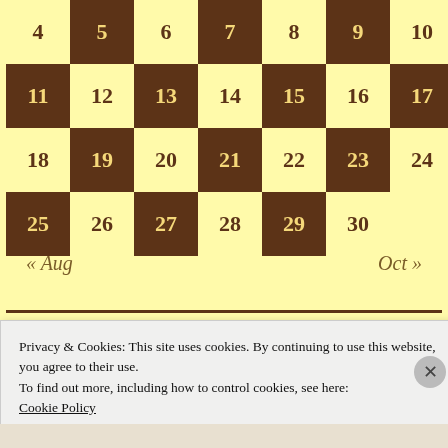|  | 4 | 5 | 6 | 7 | 8 | 9 | 10 |
| --- | --- | --- | --- | --- | --- | --- | --- |
|  | 11 | 12 | 13 | 14 | 15 | 16 | 17 |
|  | 18 | 19 | 20 | 21 | 22 | 23 | 24 |
|  | 25 | 26 | 27 | 28 | 29 | 30 |  |
« Aug
Oct »
Privacy & Cookies: This site uses cookies. By continuing to use this website, you agree to their use.
To find out more, including how to control cookies, see here:
Cookie Policy
Close and accept